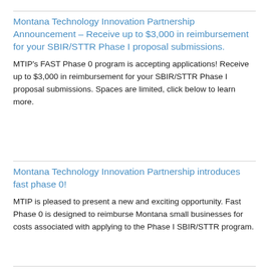Montana Technology Innovation Partnership Announcement – Receive up to $3,000 in reimbursement for your SBIR/STTR Phase I proposal submissions.
MTIP's FAST Phase 0 program is accepting applications! Receive up to $3,000 in reimbursement for your SBIR/STTR Phase I proposal submissions. Spaces are limited, click below to learn more.
Montana Technology Innovation Partnership introduces fast phase 0!
MTIP is pleased to present a new and exciting opportunity. Fast Phase 0 is designed to reimburse Montana small businesses for costs associated with applying to the Phase I SBIR/STTR program.